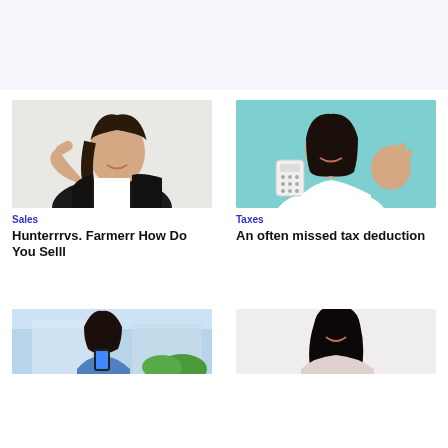[Figure (photo): Top placeholder area with light blue-white background]
[Figure (photo): Woman in black jacket giving thumbs up gesture, white background]
Sales
Hunterrrvs. Farmerr How Do You Selll
[Figure (photo): Smiling woman holding a white calculator and making OK gesture, teal background]
Taxes
An often missed tax deduction
[Figure (photo): Young woman looking at phone, outdoors, blue shirt]
[Figure (photo): Young woman smiling, portrait style]